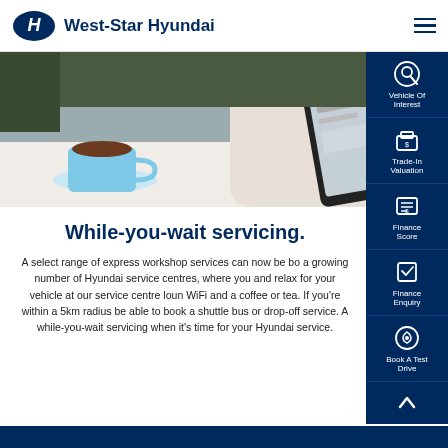West-Star Hyundai
[Figure (photo): Person sitting at outdoor table with coffee cup, browsing Hyundai website on smartphone]
While-you-wait servicing.
A select range of express workshop services can now be booked at a growing number of Hyundai service centres, where you can sit and relax for your vehicle at our service centre lounge with free WiFi and a coffee or tea. If you're within a 5km radius you may be able to book a shuttle bus or drop-off service. Ask about while-you-wait servicing when it's time for your Hyundai service.